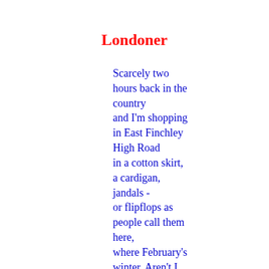Londoner
Scarcely two hours back in the country
and I'm shopping in East Finchley High Road
in a cotton skirt, a cardigan, jandals -
or flipflops as people call them here,
where February's winter. Aren't I cold?
The neighbours in their overcoats are smiling
at my smiles and not at my bare toes:
they know me here.